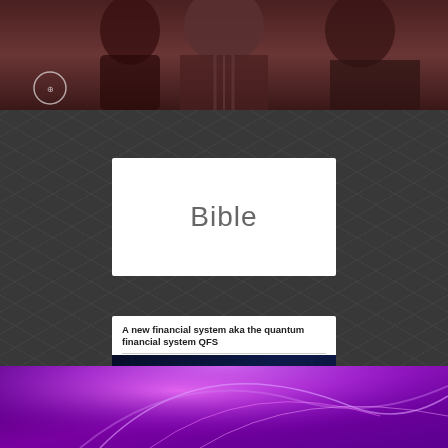[Figure (photo): Top photo strip showing people in dark tones with a circular logo/seal overlay in the bottom-left corner]
Bible
A new financial system aka the quantum financial system QFS
Feb 11, 2021 in Blog, interviews, Mind News, Other, World
[Figure (photo): QFS - Quantum Financial System promotional image with blue circuit board background, bold 'QFS' text, 'QUANTUM FINANCIAL SYSTEM' subtitle, and 'Click Here' italic text overlay]
[Figure (photo): Bottom section with purple/violet glowing energy swirl light effect on dark background]